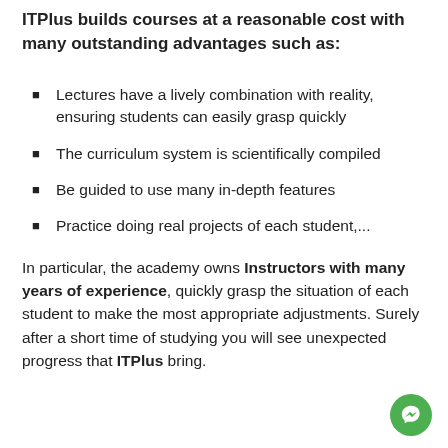ITPlus builds courses at a reasonable cost with many outstanding advantages such as:
Lectures have a lively combination with reality, ensuring students can easily grasp quickly
The curriculum system is scientifically compiled
Be guided to use many in-depth features
Practice doing real projects of each student,...
In particular, the academy owns Instructors with many years of experience, quickly grasp the situation of each student to make the most appropriate adjustments. Surely after a short time of studying you will see unexpected progress that ITPlus bring.